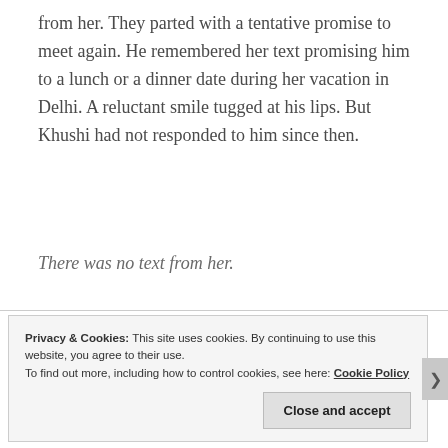from her. They parted with a tentative promise to meet again. He remembered her text promising him to a lunch or a dinner date during her vacation in Delhi. A reluctant smile tugged at his lips. But Khushi had not responded to him since then.
There was no text from her.
Privacy & Cookies: This site uses cookies. By continuing to use this website, you agree to their use.
To find out more, including how to control cookies, see here: Cookie Policy